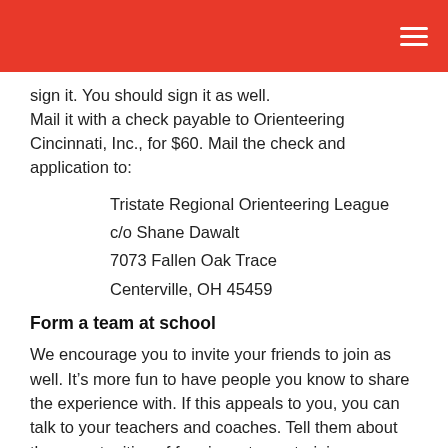sign it. You should sign it as well.
Mail it with a check payable to Orienteering Cincinnati, Inc., for $60. Mail the check and application to:
Tristate Regional Orienteering League
c/o Shane Dawalt
7073 Fallen Oak Trace
Centerville, OH 45459
Form a team at school
We encourage you to invite your friends to join as well. It’s more fun to have people you know to share the experience with. If this appeals to you, you can talk to your teachers and coaches. Tell them about the opportunities of forming a team, training, competing and meeting a challenge, all in the name of your school. If you’re not part of a team, rest assured you’ll meet people at the events you can share your experience with.